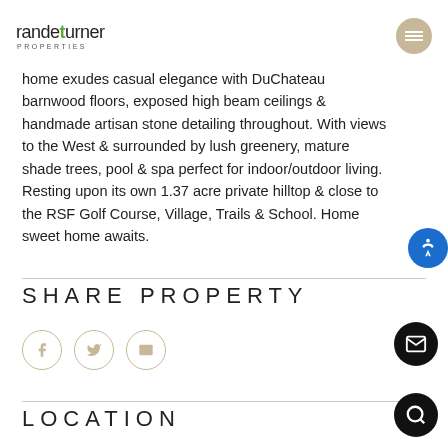randeturner PROPERTIES
home exudes casual elegance with DuChateau barnwood floors, exposed high beam ceilings & handmade artisan stone detailing throughout. With views to the West & surrounded by lush greenery, mature shade trees, pool & spa perfect for indoor/outdoor living. Resting upon its own 1.37 acre private hilltop & close to the RSF Golf Course, Village, Trails & School. Home sweet home awaits.
SHARE PROPERTY
[Figure (other): Social share icons: Facebook, Twitter, Email in circular tan/beige outlines]
LOCATION